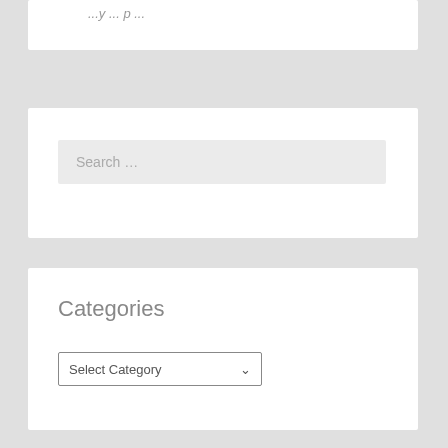...y ... p ...
Search ...
Categories
Select Category
The Crew
generaltofu